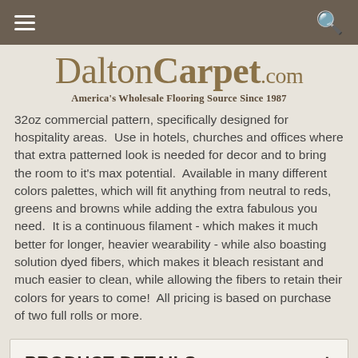DaltonCarpet.com — America's Wholesale Flooring Source Since 1987
32oz commercial pattern, specifically designed for hospitality areas.  Use in hotels, churches and offices where that extra patterned look is needed for decor and to bring the room to it's max potential.  Available in many different colors palettes, which will fit anything from neutral to reds, greens and browns while adding the extra fabulous you need.  It is a continuous filament - which makes it much better for longer, heavier wearability - while also boasting solution dyed fibers, which makes it bleach resistant and much easier to clean, while allowing the fibers to retain their colors for years to come!  All pricing is based on purchase of two full rolls or more.
PRODUCT DETAILS
PRODUCT